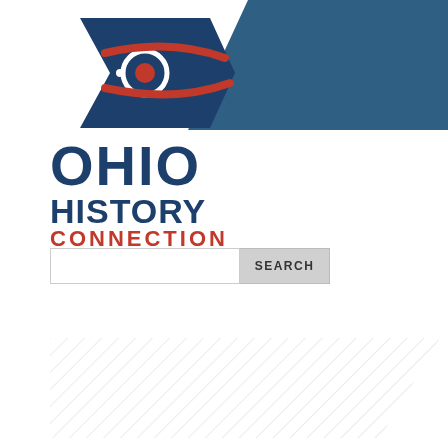[Figure (logo): Ohio History Connection logo with Ohio state flag icon in navy blue and red, featuring a pennant shape with circle and stripes]
[Figure (screenshot): Search bar with empty text input field and SEARCH button]